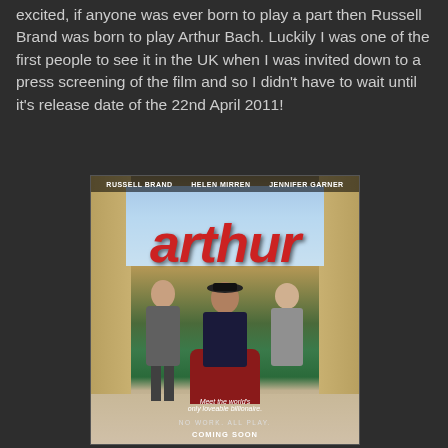excited, if anyone was ever born to play a part then Russell Brand was born to play Arthur Bach. Luckily I was one of the first people to see it in the UK when I was invited down to a press screening of the film and so I didn't have to wait until it's release date of the 22nd April 2011!
[Figure (photo): Movie poster for 'Arthur' featuring Russell Brand, Helen Mirren, and Jennifer Garner. Large red italic 'arthur' title text. Tagline: 'Meet the world's only loveable billionaire.' NO WORK. ALL PLAY. COMING SOON.]